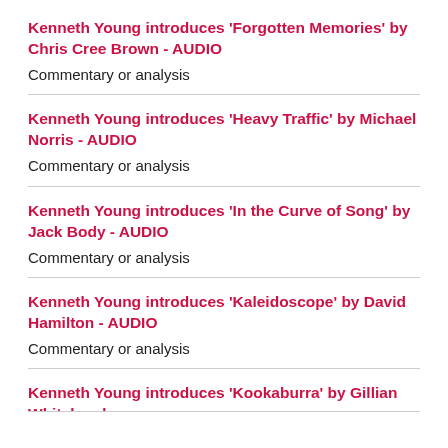Kenneth Young introduces 'Forgotten Memories' by Chris Cree Brown - AUDIO
Commentary or analysis
Kenneth Young introduces 'Heavy Traffic' by Michael Norris - AUDIO
Commentary or analysis
Kenneth Young introduces 'In the Curve of Song' by Jack Body - AUDIO
Commentary or analysis
Kenneth Young introduces 'Kaleidoscope' by David Hamilton - AUDIO
Commentary or analysis
Kenneth Young introduces 'Kookaburra' by Gillian Whitehead...